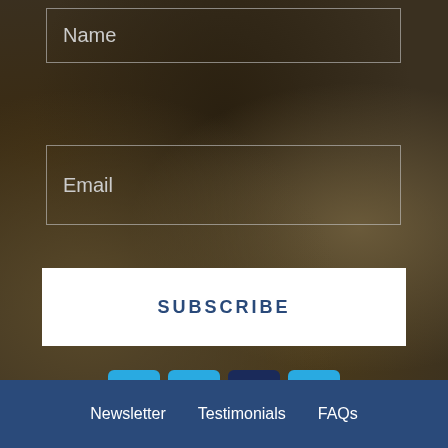Name
Email
SUBSCRIBE
[Figure (infographic): Four social media icons in rounded squares: Instagram (light blue), Facebook (light blue), YouTube (dark navy), Twitter (light blue)]
Newsletter   Testimonials   FAQs